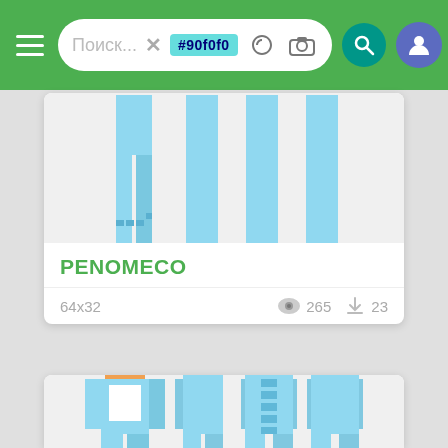[Figure (screenshot): Mobile app navigation bar with hamburger menu, search bar showing '#90f0f0' tag, color picker, camera, search and user icons on green background]
[Figure (screenshot): Minecraft skin preview card showing light blue character skin from multiple angles with small pixel art at top]
PENOMECO
64x32
265
23
[Figure (screenshot): Second Minecraft skin card showing light blue cat onesie character with orange cat face from multiple angles]